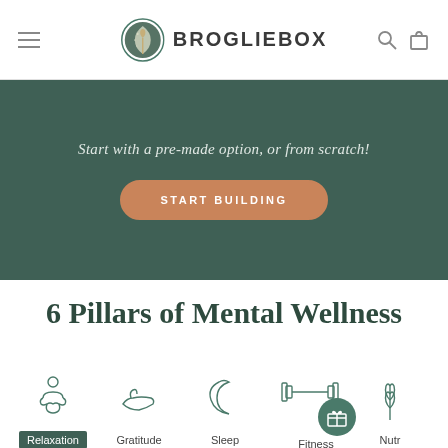[Figure (logo): BroglieBox navigation bar with hamburger menu, circular logo icon, BROGLIEBOX brand name, search icon, and cart icon]
Start with a pre-made option, or from scratch!
START BUILDING
6 Pillars of Mental Wellness
[Figure (infographic): Row of pillar icons: Relaxation (meditating figure), Gratitude (open hand), Sleep (crescent moon), Fitness (dumbbell with gift circle overlay), Nutr... (partially visible plant/wheat icon)]
Relaxation
Gratitude
Sleep
Fitness
Nutr